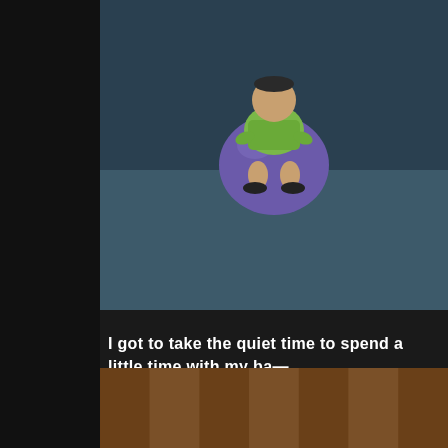[Figure (screenshot): Screenshot from The Sims video game showing a child character in green outfit sitting on a blue ball on a dark floor]
I got to take the quiet time to spend a little time with my baby.
[Figure (screenshot): Screenshot from The Sims video game showing a blonde female character with a blue headband leaning close to a green alien baby character with black hair, against a wood-paneled wall]